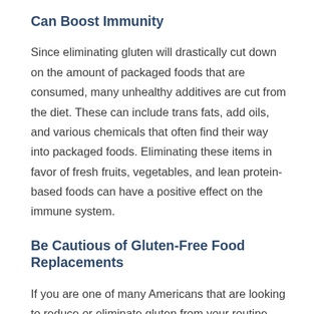Can Boost Immunity
Since eliminating gluten will drastically cut down on the amount of packaged foods that are consumed, many unhealthy additives are cut from the diet. These can include trans fats, add oils, and various chemicals that often find their way into packaged foods. Eliminating these items in favor of fresh fruits, vegetables, and lean protein-based foods can have a positive effect on the immune system.
Be Cautious of Gluten-Free Food Replacements
If you are one of many Americans that are looking to reduce or eliminate gluten from your routine